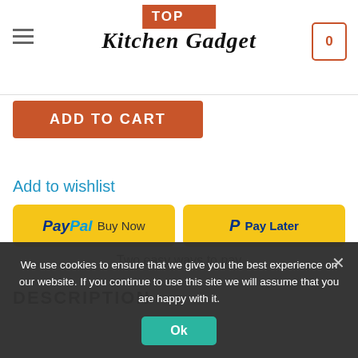Top Kitchen Gadget
ADD TO CART
Add to wishlist
[Figure (screenshot): PayPal Buy Now and Pay Later payment buttons with 'Two easy ways to pay' label]
DESCRIPTION
We use cookies to ensure that we give you the best experience on our website. If you continue to use this site we will assume that you are happy with it.
Ok